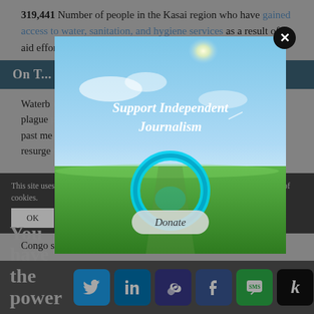319,441 Number of people in the Kasai region who have gained access to water, sanitation, and hygiene services as a result of aid efforts by UNICEF and partner organizations.
On T...
Waterb... ely plague ... in the past me... the resurge... h causes severe bleeding and organ failure, killed more than 11,000 people in West Africa between 2013 and 2016. So far, at least ... and confirmed cases ... Congo since e...
[Figure (screenshot): Modal popup overlay with landscape photo (sky and green field), text 'Support Independent Journalism' in italic white, and a 'Donate' button with a blue circular ring graphic]
This site uses cookies. By continuing to browse the site, you are agreeing to our use of cookies.
You have the power to inform
[Figure (infographic): Social sharing bar with Twitter, LinkedIn, Link, Facebook, SMS, and K icons]